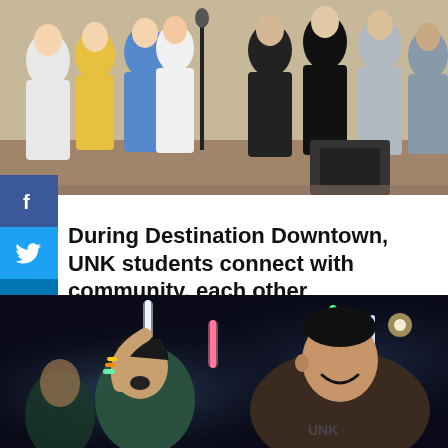[Figure (photo): Group of young people at an outdoor event, some singing and cheering near a microphone stand, daytime street scene]
During Destination Downtown, UNK students connect with community, each other
August 25, 2022 / Tyler Ellyson
[Figure (photo): Students at a nighttime event holding glowing light sticks and cheering, a young woman and man smiling in the foreground]